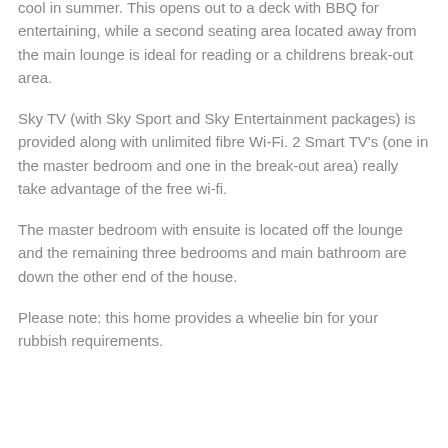cool in summer. This opens out to a deck with BBQ for entertaining, while a second seating area located away from the main lounge is ideal for reading or a childrens break-out area.
Sky TV (with Sky Sport and Sky Entertainment packages) is provided along with unlimited fibre Wi-Fi. 2 Smart TV's (one in the master bedroom and one in the break-out area) really take advantage of the free wi-fi.
The master bedroom with ensuite is located off the lounge and the remaining three bedrooms and main bathroom are down the other end of the house.
Please note: this home provides a wheelie bin for your rubbish requirements.